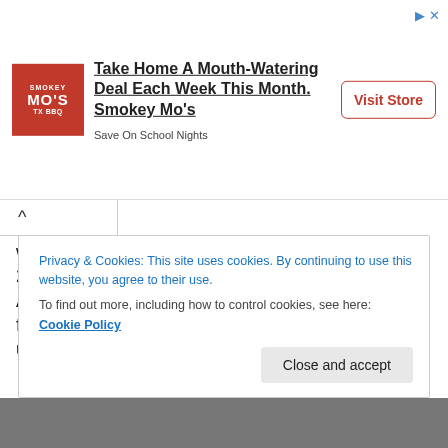[Figure (other): Smokey Mo's TX BBQ advertisement banner with logo, headline text, and Visit Store button]
when the PR agency invited me to Retrolicious 2012, I must admit that I have only ever heard of Alphaville and "Forever Young". Still, I'm always up for live music and giving people a chance so I took up the invitation.
Needless to say, there were moments when I went, "OMG! I know this song!" but fortunately, it wasn't that many so I can still safely say that I'm not that old. 😐
Privacy & Cookies: This site uses cookies. By continuing to use this website, you agree to their use.
To find out more, including how to control cookies, see here: Cookie Policy
[Figure (photo): Bottom image strip showing partial photos]